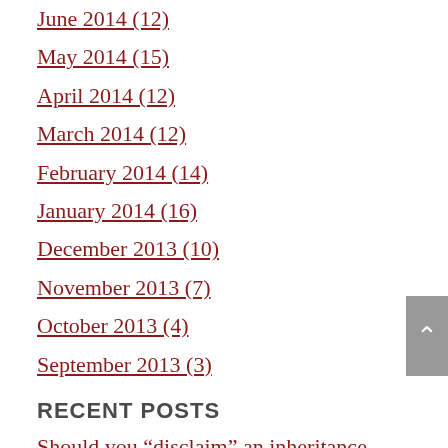June 2014 (12)
May 2014 (15)
April 2014 (12)
March 2014 (12)
February 2014 (14)
January 2014 (16)
December 2013 (10)
November 2013 (7)
October 2013 (4)
September 2013 (3)
RECENT POSTS
Should you “disclaim” an inheritance you don’t want?
Choosing a guardian for your young children